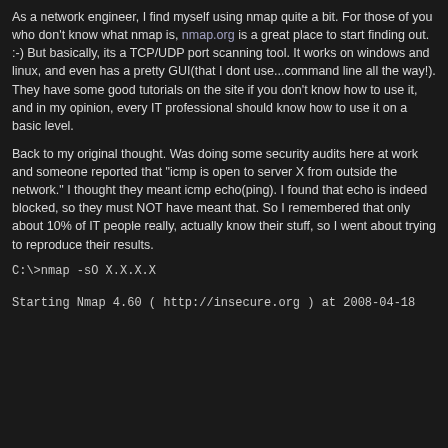As a network engineer, I find myself using nmap quite a bit. For those of you who don't know what nmap is, nmap.org is a great place to start finding out. :-) But basically, its a TCP/UDP port scanning tool. It works on windows and linux, and even has a pretty GUI(that I dont use...command line all the way!). They have some good tutorials on the site if you don't know how to use it, and in my opinion, every IT professional should know how to use it on a basic level.
Back to my original thought. Was doing some security audits here at work and someone reported that "icmp is open to server X from outside the network." I thought they meant icmp echo(ping). I found that echo is indeed blocked, so they must NOT have meant that. So I remembered that only about 10% of IT people really, actually know their stuff, so I went about trying to reproduce their results.
C:\>nmap -sO X.X.X.X
Starting Nmap 4.60 ( http://insecure.org ) at 2008-04-18